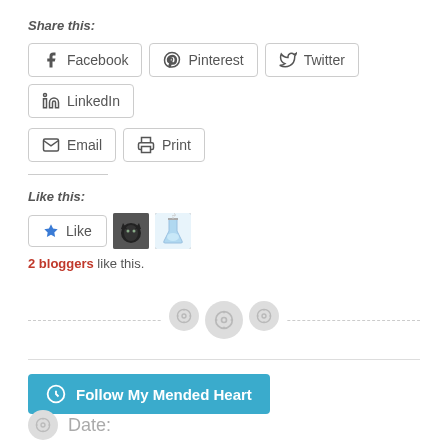Share this:
[Figure (infographic): Row of social sharing buttons: Facebook, Pinterest, Twitter, LinkedIn, Email, Print]
Like this:
[Figure (infographic): Like button with star icon and two avatar thumbnails beside it]
2 bloggers like this.
[Figure (infographic): Dashed horizontal divider with three button icons in center]
[Figure (infographic): Follow My Mended Heart button in teal/blue]
Date: